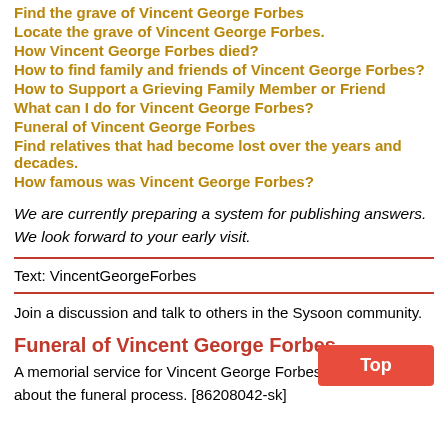Find the grave of Vincent George Forbes
Locate the grave of Vincent George Forbes.
How Vincent George Forbes died?
How to find family and friends of Vincent George Forbes?
How to Support a Grieving Family Member or Friend
What can I do for Vincent George Forbes?
Funeral of Vincent George Forbes
Find relatives that had become lost over the years and decades.
How famous was Vincent George Forbes?
We are currently preparing a system for publishing answers. We look forward to your early visit.
Text: VincentGeorgeForbes
Join a discussion and talk to others in the Sysoon community.
Funeral of Vincent George Forbes
A memorial service for Vincent George Forbes. Information about the funeral process. [86208042-sk]